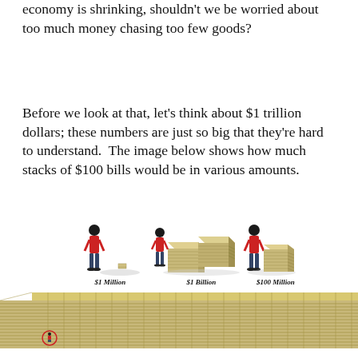economy is shrinking, shouldn't we be worried about too much money chasing too few goods?
Before we look at that, let's think about $1 trillion dollars; these numbers are just so big that they're hard to understand.  The image below shows how much stacks of $100 bills would be in various amounts.
[Figure (infographic): An infographic showing stacks of $100 bills at various scales next to a human figure for scale. Left: $1 Million (tiny stack, person standing next to it). Middle: $100 Million (large cube, person standing next to it). Right: $1 Billion (multiple large pallets, person standing next to them). Below: a massive flat expanse of stacked bills (implying $1 Trillion), with a circled tiny human figure visible at the lower-left corner.]